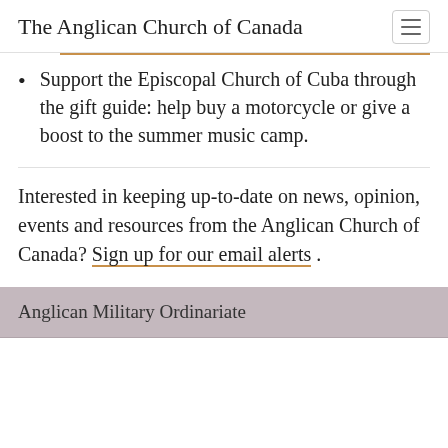The Anglican Church of Canada
Support the Episcopal Church of Cuba through the gift guide: help buy a motorcycle or give a boost to the summer music camp.
Interested in keeping up-to-date on news, opinion, events and resources from the Anglican Church of Canada? Sign up for our email alerts .
Anglican Military Ordinariate